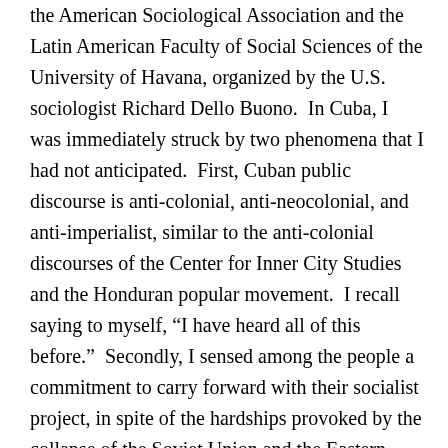the American Sociological Association and the Latin American Faculty of Social Sciences of the University of Havana, organized by the U.S. sociologist Richard Dello Buono.  In Cuba, I was immediately struck by two phenomena that I had not anticipated.  First, Cuban public discourse is anti-colonial, anti-neocolonial, and anti-imperialist, similar to the anti-colonial discourses of the Center for Inner City Studies and the Honduran popular movement.  I recall saying to myself, “I have heard all of this before.”  Secondly, I sensed among the people a commitment to carry forward with their socialist project, in spite of the hardships provoked by the collapse of the Soviet Union and the Eastern European socialist bloc.  Nearly everyone outside of Cuba, including the Left, had thought at the time that Cuban socialism soon would join Eastern European socialism in collapse; but I found myself saying, “I am